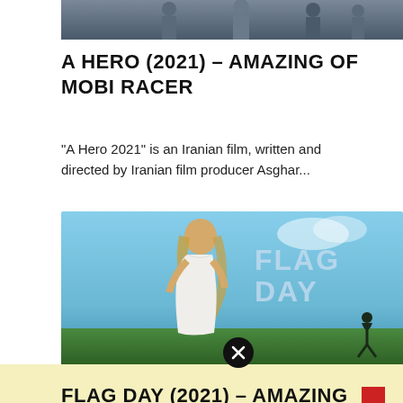[Figure (photo): Top portion of a movie scene showing people walking, partially cropped at top]
A HERO (2021) – AMAZING OF MOBI RACER
"A Hero 2021" is an Iranian film, written and directed by Iranian film producer Asghar...
[Figure (photo): Movie poster for Flag Day showing a young woman in a white floral dress with long blonde hair, with large text FLAG DAY in the upper right, and a silhouette of a person in the lower right. A close/dismiss button (X) overlays the center-bottom of the image.]
FLAG DAY (2021) – AMAZING OF MOBI